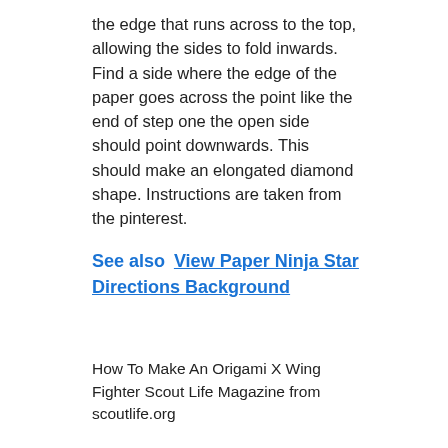the edge that runs across to the top, allowing the sides to fold inwards. Find a side where the edge of the paper goes across the point like the end of step one the open side should point downwards. This should make an elongated diamond shape. Instructions are taken from the pinterest.
See also  View Paper Ninja Star Directions Background
How To Make An Origami X Wing Fighter Scout Life Magazine from scoutlife.org
It can be a little tricky, but with a little practice anyone can do it! Subscribe to receive weekly new origami tutorials!tutorial by: 08/02/2017 · pour rester dans l'univers star wars, après origami yoda (voir ma vidéo là : Lift the edge that runs across to the top, allowing the sides to fold